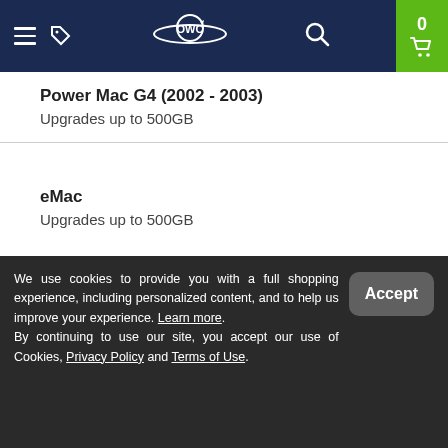OWC - navigation header
Power Mac G4 (2002 - 2003)
Upgrades up to 500GB
eMac
Upgrades up to 500GB
We use cookies to provide you with a full shopping experience, including personalized content, and to help us improve your experience. Learn more. By continuing to use our site, you accept our use of Cookies, Privacy Policy and Terms of Use.